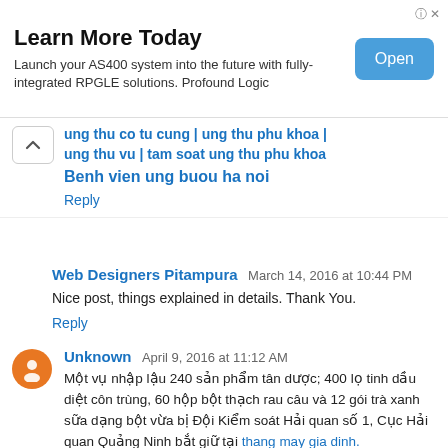[Figure (other): Advertisement banner: 'Learn More Today' with text 'Launch your AS400 system into the future with fully-integrated RPGLE solutions. Profound Logic' and an 'Open' button]
ung thu co tu cung | ung thu phu khoa | ung thu vu | tam soat ung thu phu khoa Benh vien ung buou ha noi
Reply
Web Designers Pitampura  March 14, 2016 at 10:44 PM
Nice post, things explained in details. Thank You.
Reply
Unknown  April 9, 2016 at 11:12 AM
Một vụ nhập lậu 240 sản phẩm tân dược; 400 lọ tinh dầu diệt côn trùng, 60 hộp bột thạch rau câu và 12 gói trà xanh sữa dạng bột vừa bị Đội Kiểm soát Hải quan số 1, Cục Hải quan Quảng Ninh bắt giữ tại thang may gia dinh.